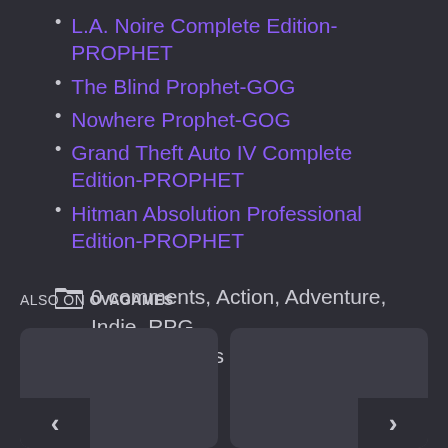L.A. Noire Complete Edition-PROPHET
The Blind Prophet-GOG
Nowhere Prophet-GOG
Grand Theft Auto IV Complete Edition-PROPHET
Hitman Absolution Professional Edition-PROPHET
0 comments, Action, Adventure, Indie, RPG, Scene Games
ALSO ON OVAGAMES
[Figure (screenshot): Two card thumbnails side by side with left arrow on the left card and right arrow on the right card, dark background]
[Figure (screenshot): Right card thumbnail with right chevron arrow, dark background]